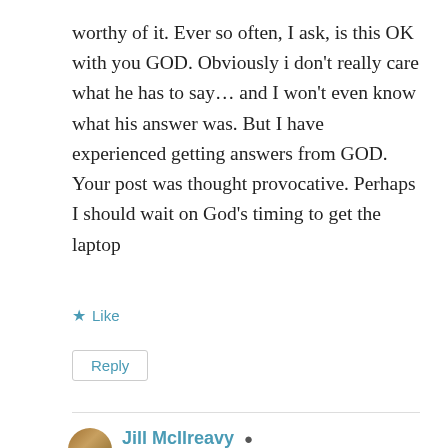worthy of it. Ever so often, I ask, is this OK with you GOD. Obviously i don't really care what he has to say... and I won't even know what his answer was. But I have experienced getting answers from GOD. Your post was thought provocative. Perhaps I should wait on God's timing to get the laptop
★ Like
Reply
Jill McIlreavy
October 13, 2017 at 6:18 am